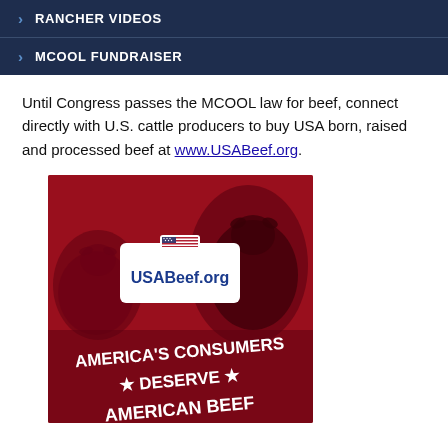RANCHER VIDEOS
MCOOL FUNDRAISER
Until Congress passes the MCOOL law for beef, connect directly with U.S. cattle producers to buy USA born, raised and processed beef at www.USABeef.org.
[Figure (illustration): USABeef.org advertisement showing cattle in a dark red background with the USABeef.org logo and text reading AMERICA'S CONSUMERS DESERVE AMERICAN BEEF]